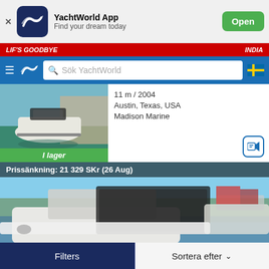[Figure (screenshot): YachtWorld app banner with icon, title, subtitle and Open button]
YachtWorld App
Find your dream today
[Figure (screenshot): Red promotional strip banner]
[Figure (screenshot): YachtWorld navigation bar with hamburger menu, logo, search field and Swedish flag]
Sök YachtWorld
[Figure (photo): Boat on water listing photo with I lager badge]
11 m / 2004
Austin, Texas, USA
Madison Marine
[Figure (photo): Boat marina listing photo with price drop banner Prissänkning: 21 329 SKr (26 Aug)]
Prissänkning: 21 329 SKr (26 Aug)
Filters
Sortera efter